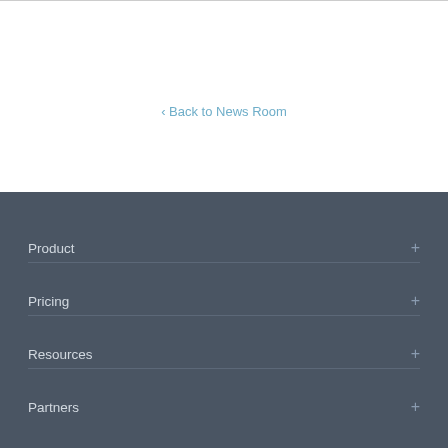‹ Back to News Room
Product
Pricing
Resources
Partners